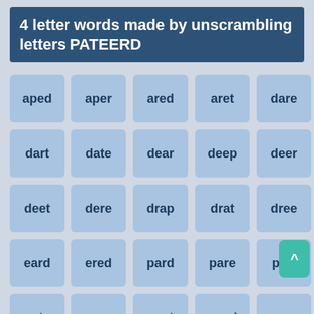4 letter words made by unscrambling letters PATEERD
aped
aper
ared
aret
dare
dart
date
dear
deep
deer
deet
dere
drap
drat
dree
eard
ered
pard
pare
part
pate
pear
peat
peed
peer
pere
pert
prad
prat
pree